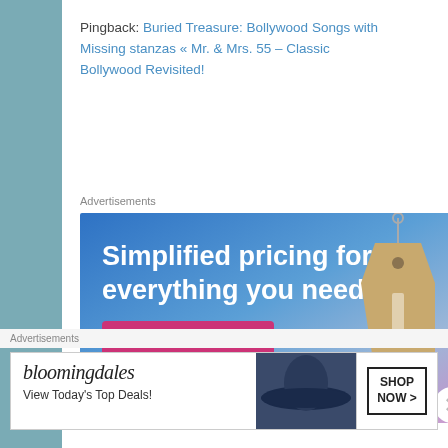Pingback: Buried Treasure: Bollywood Songs with Missing stanzas « Mr. & Mrs. 55 – Classic Bollywood Revisited!
Advertisements
[Figure (photo): WordPress.com advertisement: 'Simplified pricing for everything you need.' with a Build Your Website button and a price tag graphic]
Advertisements
[Figure (photo): Bloomingdales advertisement: 'View Today's Top Deals!' with SHOP NOW button]